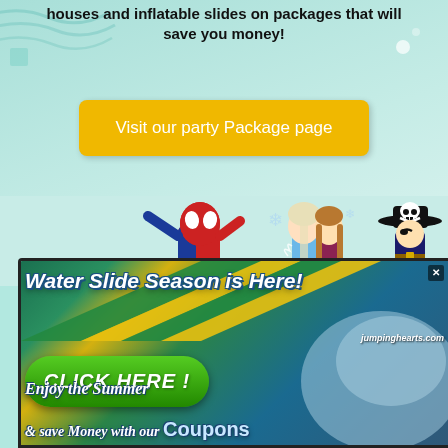houses and inflatable slides on packages that will save you money!
Visit our party Package page
[Figure (illustration): Characters: Spider-Man, Frozen characters (Elsa and Anna), and a Pirate skull-and-crossbones character on a teal background]
[Figure (screenshot): Water slide rental advertisement banner with green/yellow water slide background. Contains: 'Water Slide Season is Here!' title text, jumpinghearts.com URL, 'CLICK HERE!' green button, 'Enjoy the Summer & SAVE MONEY WITH OUR Coupons' bottom text. Close X button in corner.]